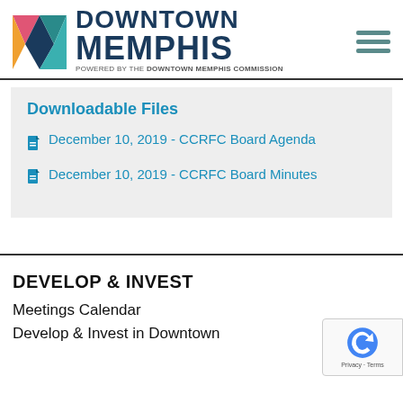[Figure (logo): Downtown Memphis logo with colorful geometric mark and text 'DOWNTOWN MEMPHIS POWERED BY THE DOWNTOWN MEMPHIS COMMISSION', plus hamburger menu icon on the right]
Downloadable Files
December 10, 2019 - CCRFC Board Agenda
December 10, 2019 - CCRFC Board Minutes
DEVELOP & INVEST
Meetings Calendar
Develop & Invest in Downtown